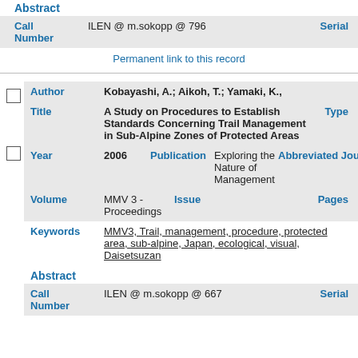Abstract
| Call Number |  | Serial |
| --- | --- | --- |
| ILEN @ m.sokopp @ 796 |  | Serial |
Permanent link to this record
| Author | Title | Year | Publication | Abbreviated Journal | Volume | Issue | Pages | Keywords | Abstract | Call Number | Serial |
| --- | --- | --- | --- | --- | --- | --- | --- | --- | --- | --- | --- |
| Kobayashi, A.; Aikoh, T.; Yamaki, K., | A Study on Procedures to Establish Standards Concerning Trail Management in Sub-Alpine Zones of Protected Areas |  | Type | 2006 | Exploring the Nature of Management | Abbreviated Journal | MMV 3 - Proceedings | Issue |  | Pages | MMV3, Trail, management, procedure, protected area, sub-alpine, Japan, ecological, visual, Daisetsuzan |  | ILEN @ m.sokopp @ 667 | Serial |